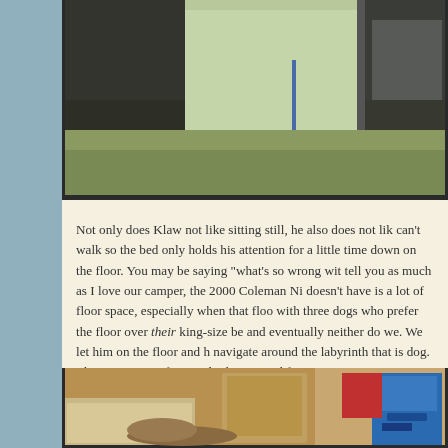[Figure (photo): Partial photo at top of page showing what appears to be a person or dog near a vehicle or outdoor scene, cropped at the top edge.]
Not only does Klaw not like sitting still, he also does not lik can't walk so the bed only holds his attention for a little time down on the floor. You may be saying "what's so wrong wit tell you as much as I love our camper, the 2000 Coleman Ni doesn't have is a lot of floor space, especially when that floo with three dogs who prefer the floor over their king-size be and eventually neither do we. We let him on the floor and h navigate around the labyrinth that is dog. Things are great f certainly this is good for us since we are trying to get dinner
[Figure (photo): Partial photo at bottom showing the interior of a camper with a dog on the floor, coolers, and furniture visible.]